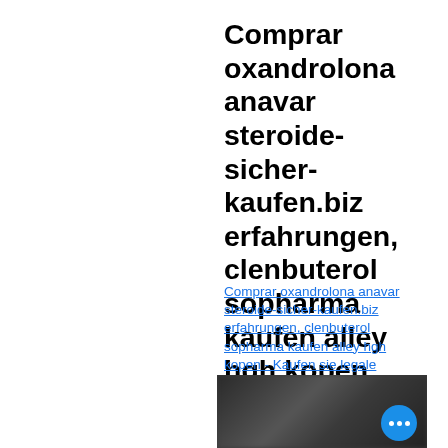Comprar oxandrolona anavar steroide-sicher-kaufen.biz erfahrungen, clenbuterol sopharma kaufen alley hgh kopen
Comprar oxandrolona anavar steroide-sicher-kaufen.biz erfahrungen, clenbuterol sopharma kaufen alley hgh kopen - Kaufen sie legale anabole steroide
[Figure (photo): Blurred dark photograph, partially visible at bottom of page]